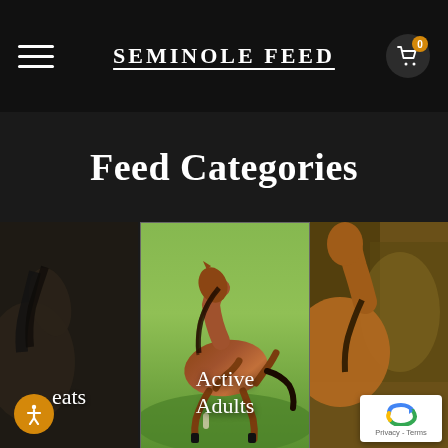SEMINOLE FEED
Feed Categories
[Figure (photo): Partially visible dark horse photo on left, category card for treats]
[Figure (photo): Bay horse galloping in green field, center category card labeled Active Adults]
[Figure (photo): Partially visible brown horse photo on right side]